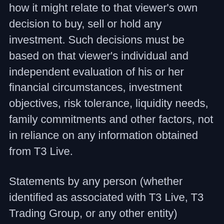how it might relate to that viewer's own decision to buy, sell or hold any investment. Such decisions must be based on that viewer's individual and independent evaluation of his or her financial circumstances, investment objectives, risk tolerance, liquidity needs, family commitments and other factors, not in reliance on any information obtained from T3 Live.
Statements by any person (whether identified as associated with T3 Live, T3 Trading Group, or any other entity) represent the opinions of that person only and do not necessarily reflect the opinions of T3 Live or any other person associated with T3 Live.